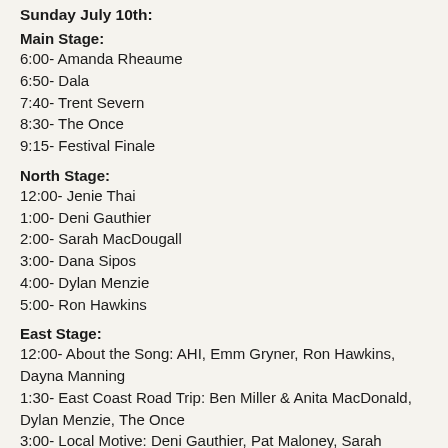Sunday July 10th:
Main Stage:
6:00- Amanda Rheaume
6:50- Dala
7:40- Trent Severn
8:30- The Once
9:15- Festival Finale
North Stage:
12:00- Jenie Thai
1:00- Deni Gauthier
2:00- Sarah MacDougall
3:00- Dana Sipos
4:00- Dylan Menzie
5:00- Ron Hawkins
East Stage:
12:00- About the Song: AHI, Emm Gryner, Ron Hawkins, Dayna Manning
1:30- East Coast Road Trip: Ben Miller & Anita MacDonald, Dylan Menzie, The Once
3:00- Local Motive: Deni Gauthier, Pat Maloney, Sarah Smith,